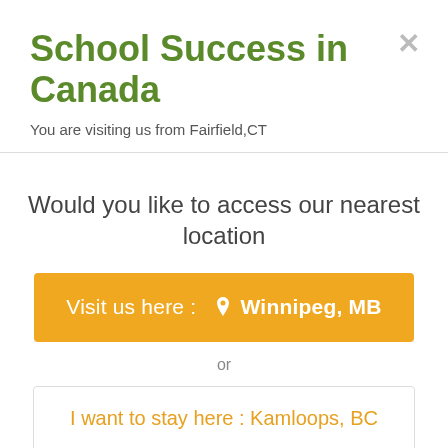School Success in Canada
You are visiting us from Fairfield,CT
Would you like to access our nearest location
Visit us here :  Winnipeg, MB
or
I want to stay here : Kamloops, BC